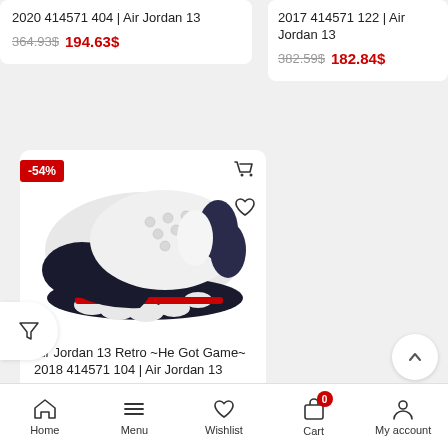2020 414571 404 | Air Jordan 13
364.93$ 194.63$
2017 414571 122 | Air Jordan 13
382.59$ 182.84$
[Figure (photo): Air Jordan 13 Retro He Got Game sneaker, white upper with black sole and red trim]
Air Jordan 13 Retro ~He Got Game~ 2018 414571 104 | Air Jordan 13
386.51$ 176.94$
Home  Menu  Wishlist  Cart  My account